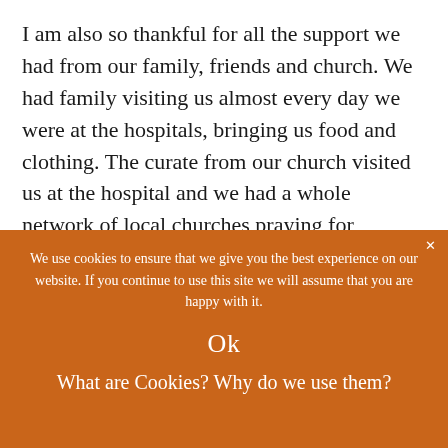I am also so thankful for all the support we had from our family, friends and church. We had family visiting us almost every day we were at the hospitals, bringing us food and clothing. The curate from our church visited us at the hospital and we had a whole network of local churches praying for Autumn. Friends kept sharing us messages of love and support and asking after us all. We even received lovely gifts
We use cookies to ensure that we give you the best experience on our website. If you continue to use this site we will assume that you are happy with it.
Ok
What are Cookies? Why do we use them?